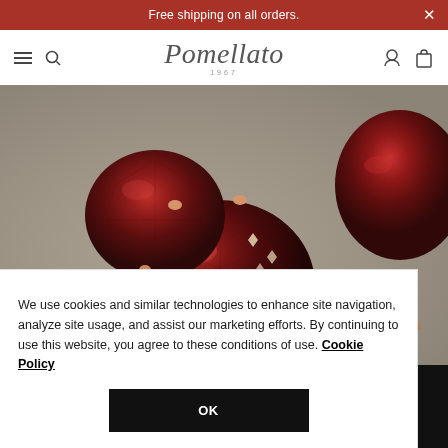Free shipping on all orders.
[Figure (logo): Pomellato brand logo in cursive script with '1967' subtitle]
[Figure (photo): Close-up photograph of luxury garnet rings by Pomellato set in rose gold, showing deep red faceted garnets with prong settings on a grey surface]
We use cookies and similar technologies to enhance site navigation, analyze site usage, and assist our marketing efforts. By continuing to use this website, you agree to these conditions of use. Cookie Policy
OK